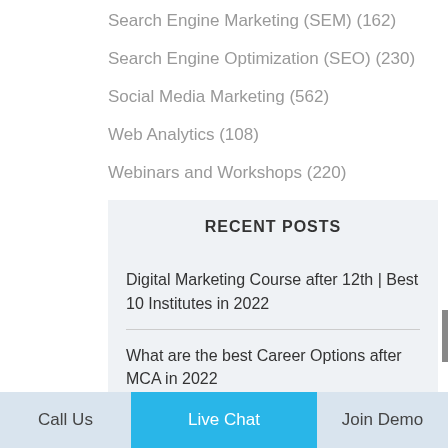Search Engine Marketing (SEM) (162)
Search Engine Optimization (SEO) (230)
Social Media Marketing (562)
Web Analytics (108)
Webinars and Workshops (220)
RECENT POSTS
Digital Marketing Course after 12th | Best 10 Institutes in 2022
What are the best Career Options after MCA in 2022
Call Us   Live Chat   Join Demo